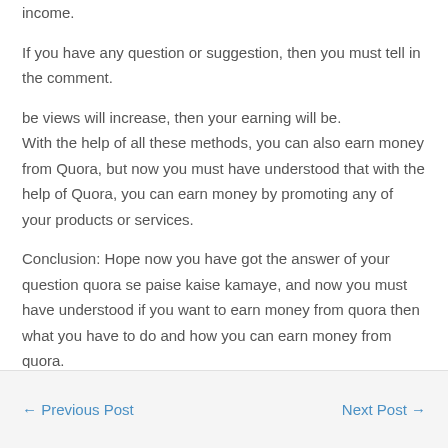income.
If you have any question or suggestion, then you must tell in the comment.
be views will increase, then your earning will be. With the help of all these methods, you can also earn money from Quora, but now you must have understood that with the help of Quora, you can earn money by promoting any of your products or services.
Conclusion: Hope now you have got the answer of your question quora se paise kaise kamaye, and now you must have understood if you want to earn money from quora then what you have to do and how you can earn money from quora.
← Previous Post    Next Post →